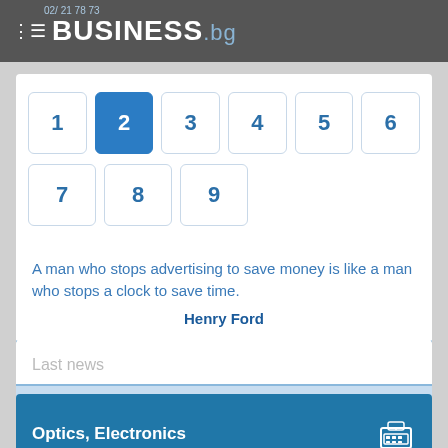BUSINESS.bg
[Figure (other): Pagination widget showing numbered page buttons 1-9, with button 2 highlighted in blue as the active page]
A man who stops advertising to save money is like a man who stops a clock to save time.
Henry Ford
Last news
Optics, Electronics